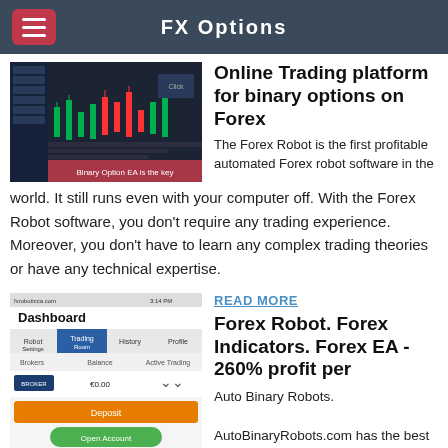FX Options
[Figure (screenshot): Screenshot of a trading chart showing candlestick price data with red and green candles]
Online Trading platform for binary options on Forex
The Forex Robot is the first profitable automated Forex robot software in the world. It still runs even with your computer off. With the Forex Robot software, you don't require any trading experience. Moreover, you don't have to learn any complex trading theories or have any technical expertise.
[Figure (screenshot): Screenshot of a mobile dashboard interface showing Robot Settings, Trading Room, History, Profile tabs, with Brokers, Balance, Active Trading columns, a deposit button and Open Account button]
READ MORE
Forex Robot. Forex Indicators. Forex EA - 260% profit per
Auto Binary Robots. AutoBinaryRobots.com has the best